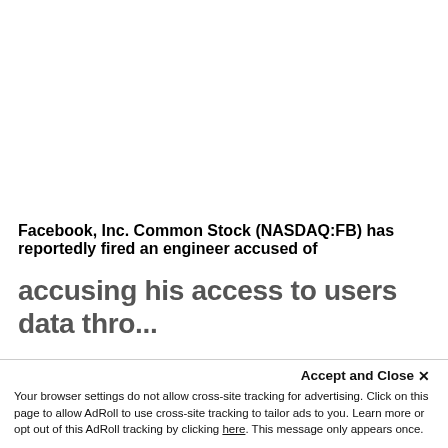Facebook, Inc. Common Stock (NASDAQ:FB) has reportedly fired an engineer accused of accusing his access to users data through...
Accept and Close ×
Your browser settings do not allow cross-site tracking for advertising. Click on this page to allow AdRoll to use cross-site tracking to tailor ads to you. Learn more or opt out of this AdRoll tracking by clicking here. This message only appears once.